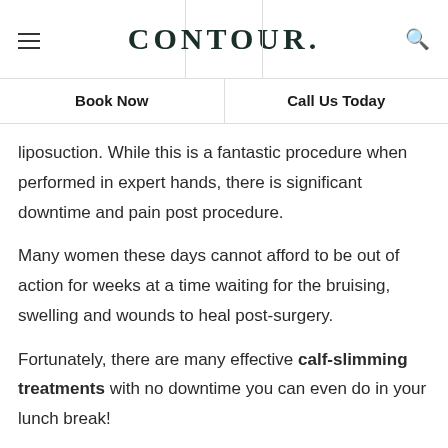CONTOUR.
Book Now   Call Us Today
liposuction. While this is a fantastic procedure when performed in expert hands, there is significant downtime and pain post procedure.
Many women these days cannot afford to be out of action for weeks at a time waiting for the bruising, swelling and wounds to heal post-surgery.
Fortunately, there are many effective calf-slimming treatments with no downtime you can even do in your lunch break!